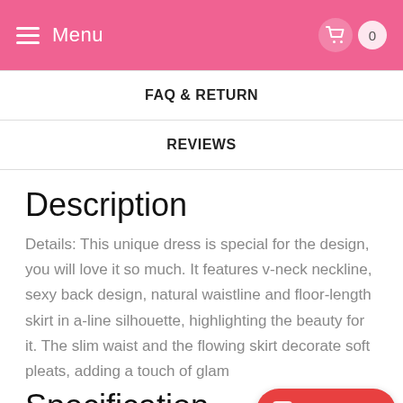Menu | Cart (0)
FAQ & RETURN
REVIEWS
Description
Details: This unique dress is special for the design, you will love it so much. It features v-neck neckline, sexy back design, natural waistline and floor-length skirt in a-line silhouette, highlighting the beauty for it. The slim waist and the flowing skirt decorate soft pleats, adding a touch of glam
Specification